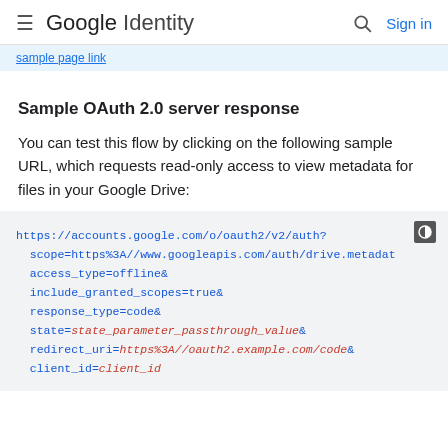≡ Google Identity  🔍 Sign in
sample page link (truncated)
Sample OAuth 2.0 server response
You can test this flow by clicking on the following sample URL, which requests read-only access to view metadata for files in your Google Drive:
https://accounts.google.com/o/oauth2/v2/auth?
  scope=https%3A//www.googleapis.com/auth/drive.metadat
  access_type=offline&
  include_granted_scopes=true&
  response_type=code&
  state=state_parameter_passthrough_value&
  redirect_uri=https%3A//oauth2.example.com/code&
  client_id=client_id